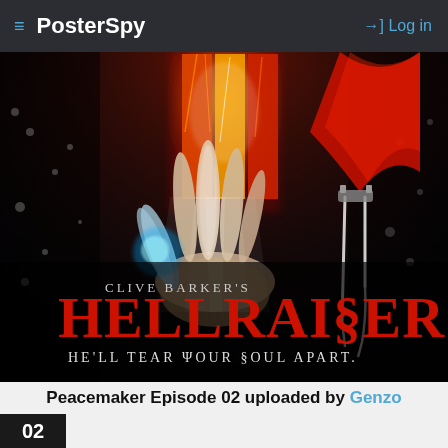≡ PosterSpy   →) Log in
[Figure (illustration): Hellraiser movie poster artwork styled as Stranger Things: dark moody scene with a hand holding a glowing puzzle box, red light beams, text reading 'Clive Barker's Hellraiser — He'll tear your soul apart.']
Peacemaker Episode 02 uploaded by Genzo